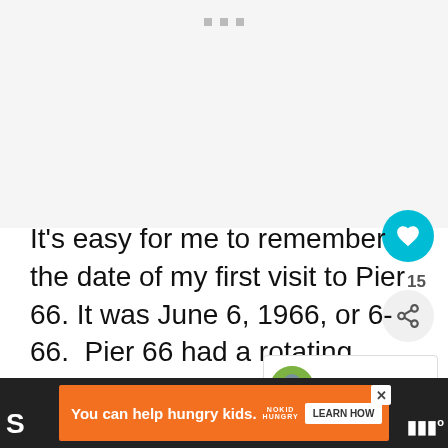[Figure (photo): Placeholder image area with three small gray squares as loading indicators at top]
It's easy for me to remember the date of my first visit to Pier 66. It was June 6, 1966, or 6-66. Pier 66 had a rotating lounge on it's top floor named Top Of The Pier that was open to the public.
You can help hungry kids. NO KID HUNGRY LEARN HOW